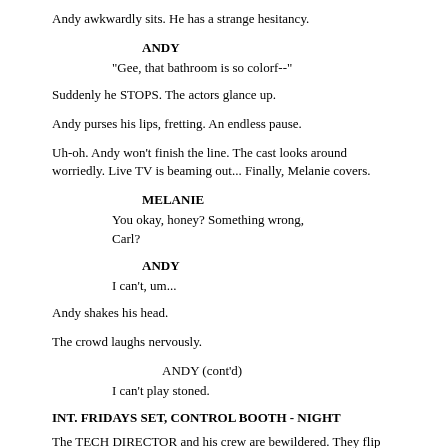Andy awkwardly sits.  He has a strange hesitancy.
ANDY
"Gee, that bathroom is so colorf--"
Suddenly he STOPS.  The actors glance up.
Andy purses his lips, fretting.  An endless pause.
Uh-oh.  Andy won't finish the line.  The cast looks around worriedly.  Live TV is beaming out... Finally, Melanie covers.
MELANIE
You okay, honey?  Something wrong, Carl?
ANDY
I can't, um...
Andy shakes his head.
The crowd laughs nervously.
ANDY (cont'd)
I can't play stoned.
INT. FRIDAYS SET, CONTROL BOOTH - NIGHT
The TECH DIRECTOR and his crew are bewildered.  They flip